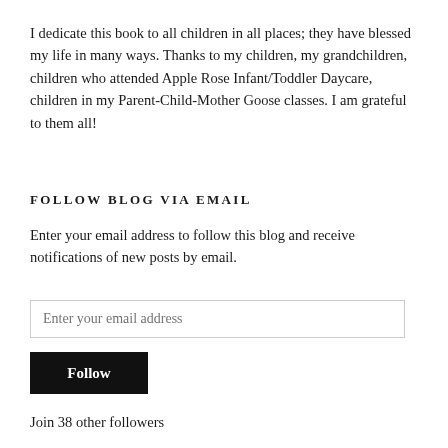I dedicate this book to all children in all places; they have blessed my life in many ways. Thanks to my children, my grandchildren, children who attended Apple Rose Infant/Toddler Daycare, children in my Parent-Child-Mother Goose classes. I am grateful to them all!
FOLLOW BLOG VIA EMAIL
Enter your email address to follow this blog and receive notifications of new posts by email.
Enter your email address
Follow
Join 38 other followers